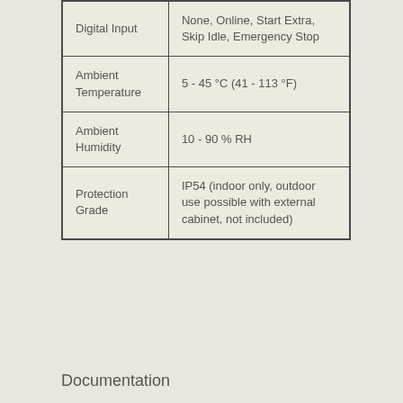| Digital Input | None, Online, Start Extra, Skip Idle, Emergency Stop |
| Ambient Temperature | 5 - 45 °C (41 - 113 °F) |
| Ambient Humidity | 10 - 90 % RH |
| Protection Grade | IP54 (indoor only, outdoor use possible with external cabinet, not included) |
Documentation